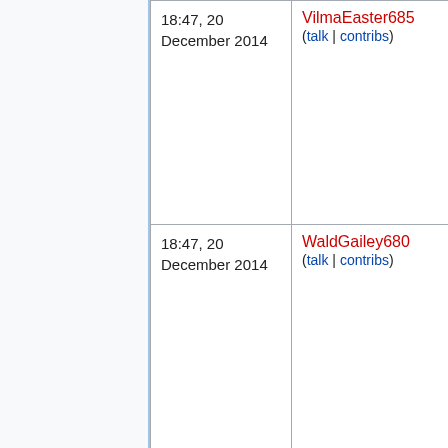| (col1) | Date | User | Info |
| --- | --- | --- | --- |
|  | 18:47, 20 December 2014 | VilmaEaster685 (talk | contribs) | inf |
|  | 18:47, 20 December 2014 | WaldGailey680 (talk | contribs) | inf |